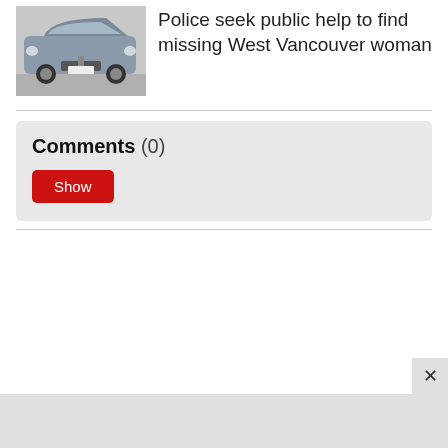[Figure (photo): Front view of a gray Toyota SUV (Highlander) parked outdoors]
Police seek public help to find missing West Vancouver woman
Comments (0)
[Figure (other): Show button (red) for comments section]
[Figure (other): Close (X) button in bottom right corner and gray banner at bottom]